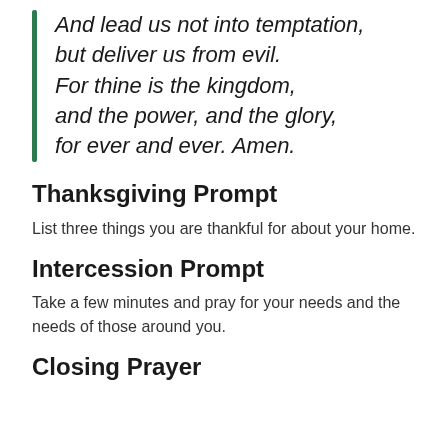And lead us not into temptation, but deliver us from evil. For thine is the kingdom, and the power, and the glory, for ever and ever. Amen.
Thanksgiving Prompt
List three things you are thankful for about your home.
Intercession Prompt
Take a few minutes and pray for your needs and the needs of those around you.
Closing Prayer